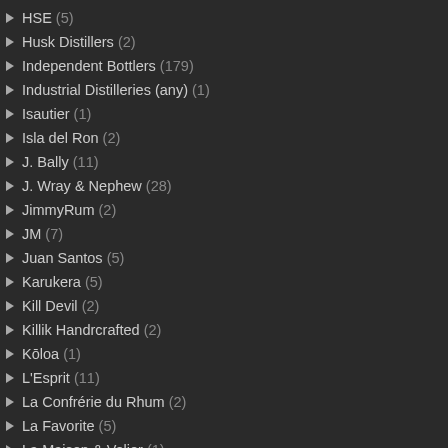HSE (5)
Husk Distillers (2)
Independent Bottlers (179)
Industrial Distilleries (any) (1)
Isautier (1)
Isla del Ron (2)
J. Bally (11)
J. Wray & Nephew (28)
JimmyRum (2)
JM (7)
Juan Santos (5)
Karukera (5)
Kill Devil (2)
Killik Handrcrafted (2)
Kōloa (1)
L'Esprit (11)
La Confrérie du Rhum (2)
La Favorite (5)
La Maison & Velier (1)
La Mauny (1)